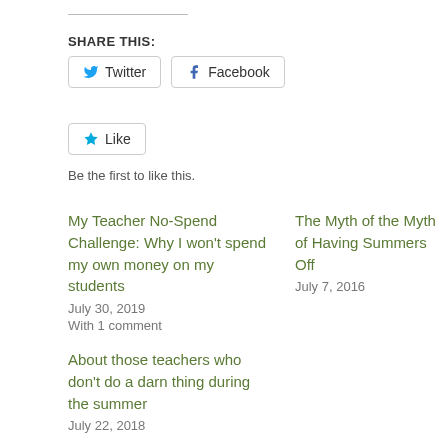SHARE THIS:
[Figure (other): Twitter and Facebook share buttons]
[Figure (other): Like button with star icon]
Be the first to like this.
My Teacher No-Spend Challenge: Why I won't spend my own money on my students
July 30, 2019
With 1 comment
The Myth of the Myth of Having Summers Off
July 7, 2016
About those teachers who don't do a darn thing during the summer
July 22, 2018